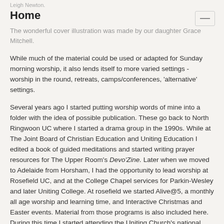Leigh Newton.
Home
The wonderful cover illustration was made by our daughter Grace Mitchell.
While much of the material could be used or adapted for Sunday morning worship, it also lends itself to more varied settings - worship in the round, retreats, camps/conferences, 'alternative' settings.
Several years ago I started putting worship words of mine into a folder with the idea of possible publication. These go back to North Ringwoon UC where I started a drama group in the 1990s. While at The Joint Board of Christian Education and Uniting Education I edited a book of guided meditations and started writing prayer resources for The Upper Room's Devo'Zine. Later when we moved to Adelaide from Horsham, I had the opportunity to lead worship at Rosefield UC, and at the College Chapel services for Parkin-Wesley and later Uniting College. At rosefield we started Alive@5, a monthly all age worship and learning time, and Interactive Christmas and Easter events. Material from those programs is also included here. During this time I started attending the Uniting Church's national Songwrite event and was encouraged to work on some songs. A year of supply ministry at Blackwood Uniting Church